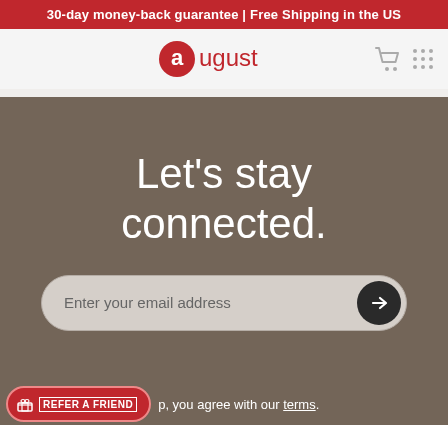30-day money-back guarantee | Free Shipping in the US
[Figure (logo): August brand logo — red circle with white 'a' letter and 'ugust' text in red]
Let's stay connected.
Enter your email address
By signing up, you agree with our terms.